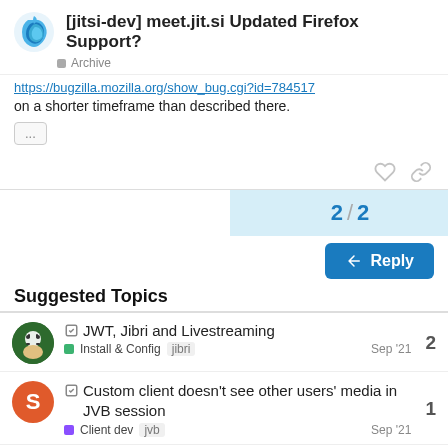[jitsi-dev] meet.jit.si Updated Firefox Support?
Archive
https://bugzilla.mozilla.org/show_bug.cgi?id=784517
on a shorter timeframe than described there.
Suggested Topics
JWT, Jibri and Livestreaming | Install & Config | jibri | Sep '21 | 2
Custom client doesn't see other users' media in JVB session | Client dev | jvb | Sep '21 | 1
Manage users and promissions